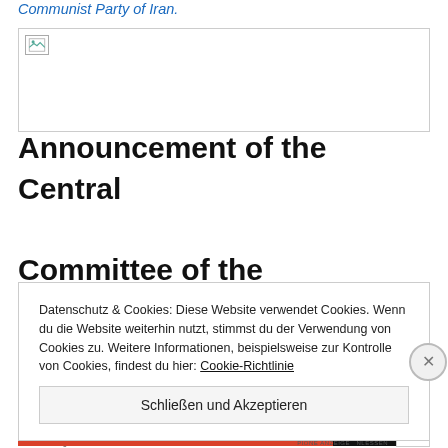Communist Party of Iran.
[Figure (photo): Broken image placeholder icon inside a bordered box]
Announcement of the Central Committee of the Communist Party of Iran on the occasion of May 1st,
Datenschutz & Cookies: Diese Website verwendet Cookies. Wenn du die Website weiterhin nutzt, stimmst du der Verwendung von Cookies zu. Weitere Informationen, beispielsweise zur Kontrolle von Cookies, findest du hier: Cookie-Richtlinie
Schließen und Akzeptieren